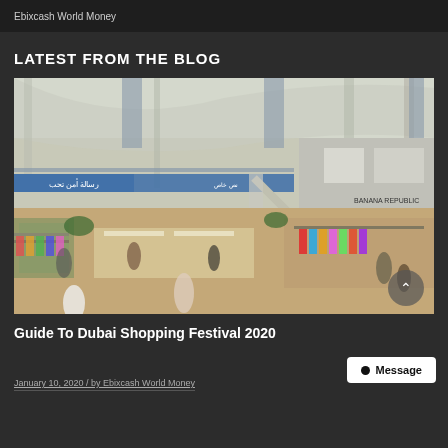Ebixcash World Money
LATEST FROM THE BLOG
[Figure (photo): Interior of a large shopping mall with vendors, clothing racks, and shoppers on the main floor; escalators and upper level visible in background with storefronts including Banana Republic]
Guide To Dubai Shopping Festival 2020
January 10, 2020 / by Ebixcash World Money